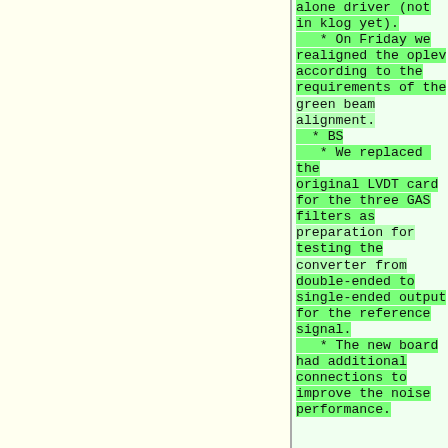alone driver (not in klog yet).
* On Friday we realigned the oplev according to the requirements of the green beam alignment.
* BS
* We replaced the original LVDT card for the three GAS filters as preparation for testing the converter from double-ended to single-ended output for the reference signal.
* The new board had additional connections to improve the noise performance.